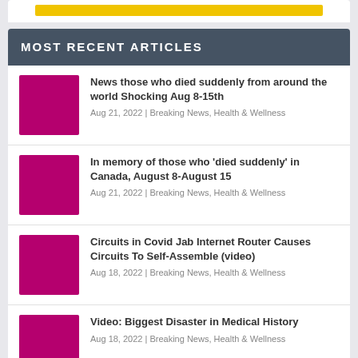[Figure (other): Yellow banner/progress bar at top of page]
MOST RECENT ARTICLES
News those who died suddenly from around the world Shocking Aug 8-15th | Aug 21, 2022 | Breaking News, Health & Wellness
In memory of those who 'died suddenly' in Canada, August 8-August 15 | Aug 21, 2022 | Breaking News, Health & Wellness
Circuits in Covid Jab Internet Router Causes Circuits To Self-Assemble (video) | Aug 18, 2022 | Breaking News, Health & Wellness
Video: Biggest Disaster in Medical History | Aug 18, 2022 | Breaking News, Health & Wellness